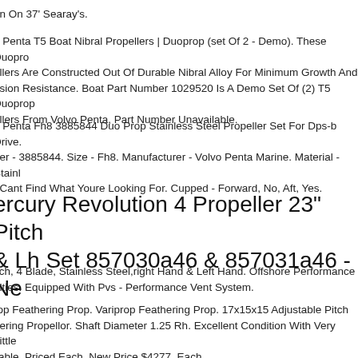on On 37' Searay's.
o Penta T5 Boat Nibral Propellers | Duoprop (set Of 2 - Demo). These Duopro ellers Are Constructed Out Of Durable Nibral Alloy For Minimum Growth And osion Resistance. Boat Part Number 1029520 Is A Demo Set Of (2) T5 Duoprop ellers From Volvo Penta, Part Number Unavailable.
o Penta Fh8 3885844 Duo Prop Stainless Steel Propeller Set For Dps-b Drive. ber - 3885844. Size - Fh8. Manufacturer - Volvo Penta Marine. Material - Stainl . Cant Find What Youre Looking For. Cupped - Forward, No, Aft, Yes.
ercury Revolution 4 Propeller 23" Pitch & Lh Set 857030a46 & 857031a46 - Ne
itch, 4 Blade, Stainless Steel,right Hand & Left Hand. Offshore Performance alties. Equipped With Pvs - Performance Vent System.
rop Feathering Prop. Variprop Feathering Prop. 17x15x15 Adjustable Pitch nering Propellor. Shaft Diameter 1.25 Rh. Excellent Condition With Very Little ilable. Priced Each. New Price $4277. Each